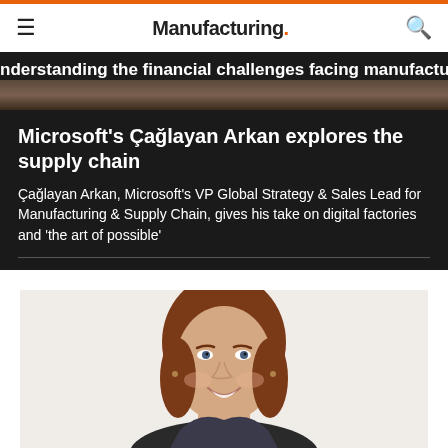Manufacturing.
nderstanding the financial challenges facing manufacturing
Microsoft’s Çağlayan Arkan explores the supply chain
Çağlayan Arkan, Microsoft’s VP Global Strategy & Sales Lead for Manufacturing & Supply Chain, gives his take on digital factories and ‘the art of possible’
[Figure (photo): Portrait photo of a smiling woman with shoulder-length auburn hair against a light background]